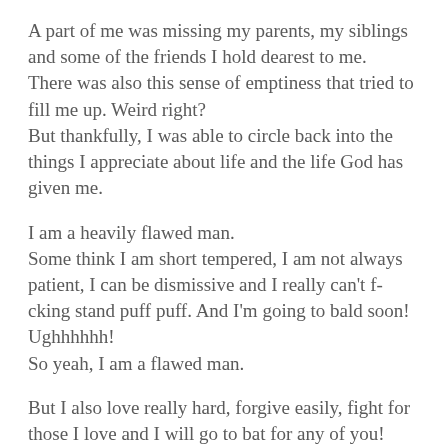A part of me was missing my parents, my siblings and some of the friends I hold dearest to me. There was also this sense of emptiness that tried to fill me up. Weird right? But thankfully, I was able to circle back into the things I appreciate about life and the life God has given me.
I am a heavily flawed man. Some think I am short tempered, I am not always patient, I can be dismissive and I really can't f-cking stand puff puff. And I'm going to bald soon! Ughhhhhh! So yeah, I am a flawed man.
But I also love really hard, forgive easily, fight for those I love and I will go to bat for any of you! My story is not perfect but the best part is that it is not